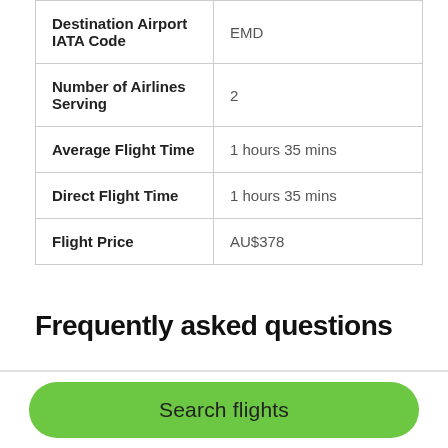| Field | Value |
| --- | --- |
| Destination Airport IATA Code | EMD |
| Number of Airlines Serving | 2 |
| Average Flight Time | 1 hours 35 mins |
| Direct Flight Time | 1 hours 35 mins |
| Flight Price | AU$378 |
Frequently asked questions
Search flights